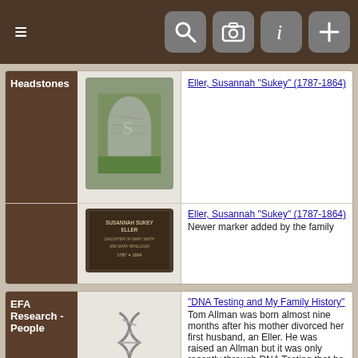Navigation bar with hamburger menu, search, camera, info, and plus icons
Headstones
Eller, Susannah "Sukey" (1787-1864)
[Figure (photo): Photo of old weathered headstone in grass]
[Figure (photo): Photo of newer dark marker for Susannah Sukey Eller]
Eller, Susannah "Sukey" (1787-1864)
Newer marker added by the family
EFA Research - People
[Figure (illustration): DNA double helix icon]
"DNA Testing and My Family History"
Tom Allman was born almost nine months after his mother divorced her first husband, an Eller. He was raised an Allman but it was only recently through DNA Testing that he found out for sure that his birth father was Joseph Eller.
[Figure (illustration): Document/notes icon]
Eller, "Joe" Pinion (1803-1880) "Joe Eller's Gold"
Supposedly Joe Eller (1803-1880) and his uncle, Joseph (1792-1863), mined gold in North Georgia.